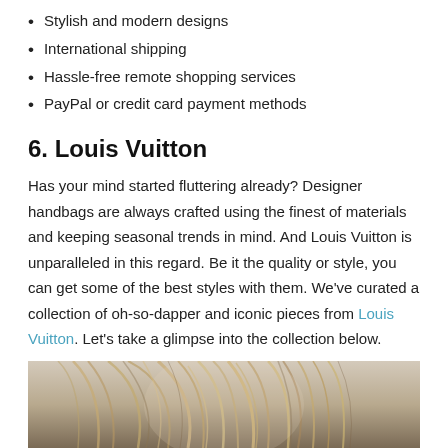Stylish and modern designs
International shipping
Hassle-free remote shopping services
PayPal or credit card payment methods
6. Louis Vuitton
Has your mind started fluttering already? Designer handbags are always crafted using the finest of materials and keeping seasonal trends in mind. And Louis Vuitton is unparalleled in this regard. Be it the quality or style, you can get some of the best styles with them. We've curated a collection of oh-so-dapper and iconic pieces from Louis Vuitton. Let's take a glimpse into the collection below.
[Figure (photo): Close-up photo of a person's hair, light brown/blonde, photographed against a light background]